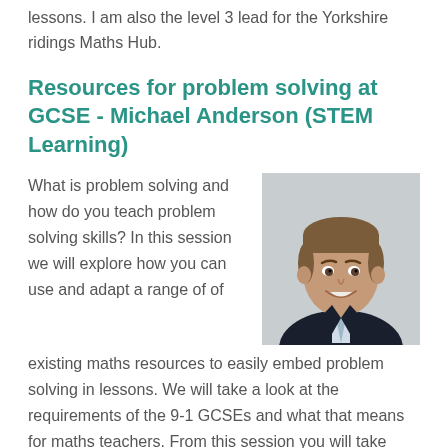lessons. I am also the level 3 lead for the Yorkshire ridings Maths Hub.
Resources for problem solving at GCSE - Michael Anderson (STEM Learning)
What is problem solving and how do you teach problem solving skills? In this session we will explore how you can use and adapt a range of existing maths resources to easily embed problem solving in lessons. We will take a look at the requirements of the 9-1 GCSEs and what that means for maths teachers. From this session you will take away hundreds of tried
[Figure (photo): Headshot photo of Michael Anderson, a young man in a dark suit and light blue tie, smiling, against a light grey background.]